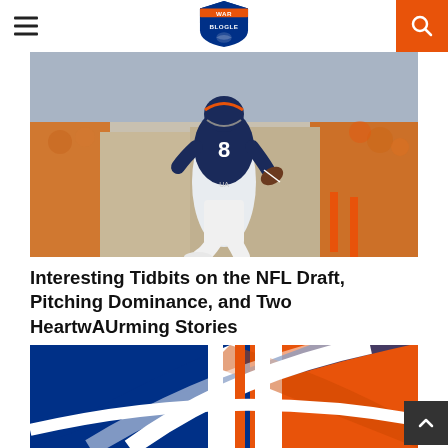War Blogle — navigation header with hamburger menu, logo, and search button
[Figure (photo): Auburn football quarterback #8 in navy uniform throwing/running with ball, crowd in orange and white in background]
Interesting Tidbits on the NFL Draft, Pitching Dominance, and Two HeartwAUrming Stories
[Figure (logo): Auburn Tigers logo — navy and orange football helmet graphic]